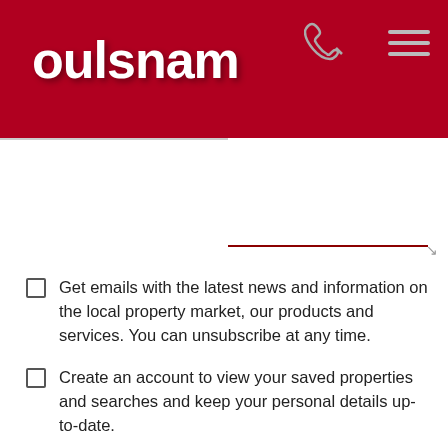oulsnam
Your message
Get emails with the latest news and information on the local property market, our products and services. You can unsubscribe at any time.
Create an account to view your saved properties and searches and keep your personal details up-to-date.
I have read and agree to the Terms and Conditions, Privacy Policy and Cookies Policy.